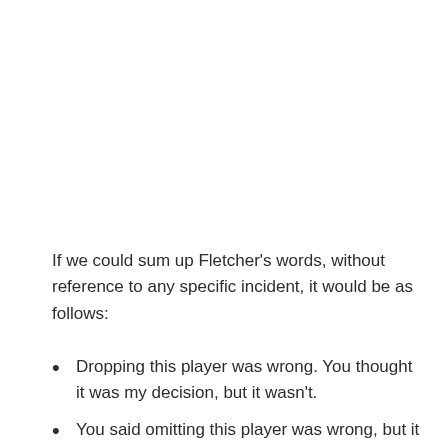If we could sum up Fletcher's words, without reference to any specific incident, it would be as follows:
Dropping this player was wrong. You thought it was my decision, but it wasn't.
You said omitting this player was wrong, but it